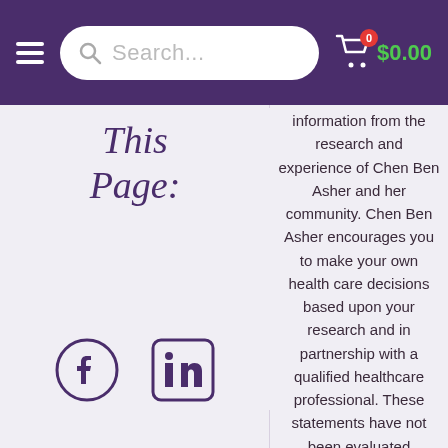Search... $0.00
[Figure (illustration): Handwritten italic script text reading 'This Page:']
[Figure (illustration): Facebook and LinkedIn social media icons]
information from the research and experience of Chen Ben Asher and her community. Chen Ben Asher encourages you to make your own health care decisions based upon your research and in partnership with a qualified healthcare professional. These statements have not been evaluated